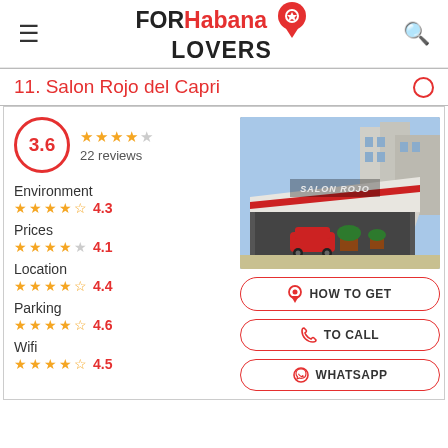FOR Habana LOVERS
11. Salon Rojo del Capri
3.6 — 22 reviews
Environment ★★★★½ 4.3
Prices ★★★★☆ 4.1
Location ★★★★½ 4.4
Parking ★★★★½ 4.6
Wifi ★★★★½ 4.5
[Figure (photo): Exterior photo of Salon Rojo del Capri showing the building facade with red signage and parked red car]
HOW TO GET
TO CALL
WHATSAPP